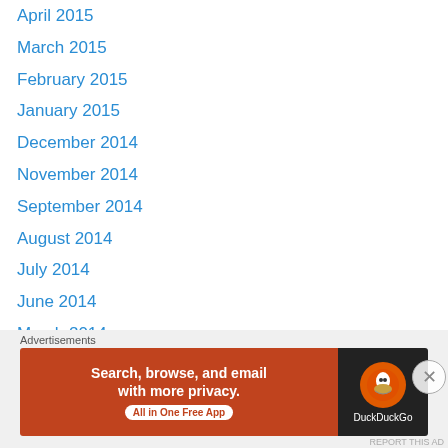April 2015
March 2015
February 2015
January 2015
December 2014
November 2014
September 2014
August 2014
July 2014
June 2014
March 2014
February 2014
Categories
#Carrickfergus
[Figure (infographic): DuckDuckGo advertisement banner: orange/red background on left with text 'Search, browse, and email with more privacy. All in One Free App' and DuckDuckGo logo on dark right panel.]